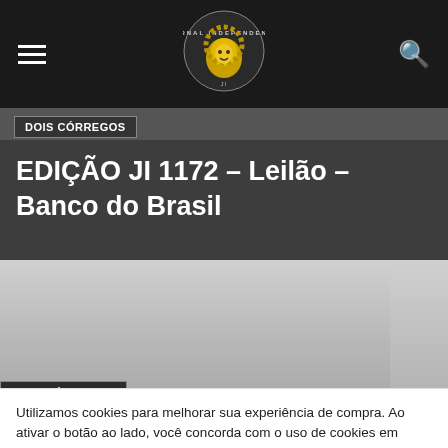[Figure (logo): Jornal Independente circular logo with yellow lion on dark background, navigation bar with hamburger menu and search icon]
DOIS CÓRREGOS
EDIÇÃO JI 1172 – Leilão – Banco do Brasil
[Figure (photo): Gray gradient placeholder image with DOIS CÓRREGOS label overlay at bottom left]
Utilizamos cookies para melhorar sua experiência de compra. Ao ativar o botão ao lado, você concorda com o uso de cookies em nosso site.
Para mais informações, confira nossa Política de Privacidade.
ACEITAR
CANCELAR